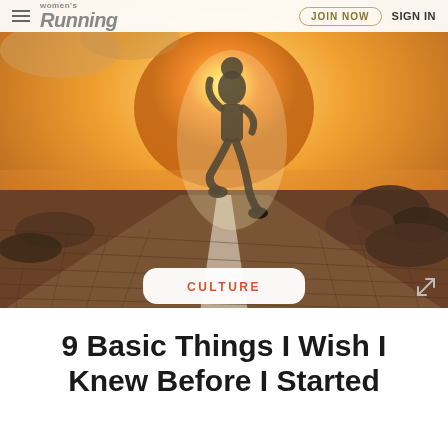Women's Running — JOIN NOW  SIGN IN
[Figure (photo): Silhouette of a runner on a road at sunset/sunrise, warm orange and golden tones, road stretching into the distance with rocks on either side]
CULTURE
9 Basic Things I Wish I Knew Before I Started